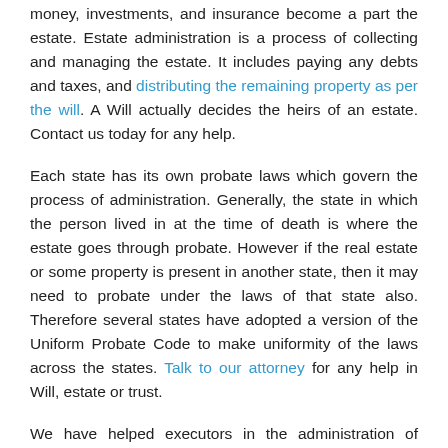money, investments, and insurance become a part the estate. Estate administration is a process of collecting and managing the estate. It includes paying any debts and taxes, and distributing the remaining property as per the will. A Will actually decides the heirs of an estate. Contact us today for any help.
Each state has its own probate laws which govern the process of administration. Generally, the state in which the person lived in at the time of death is where the estate goes through probate. However if the real estate or some property is present in another state, then it may need to probate under the laws of that state also. Therefore several states have adopted a version of the Uniform Probate Code to make uniformity of the laws across the states. Talk to our attorney for any help in Will, estate or trust.
We have helped executors in the administration of estates. So, we have good experience in managing estates. Therefore we guide our clients as per the laws and give our clients sound legal counsel. Our legal advice is available from the very first estate decisions to the very last distribution of assets. One of our attorneys can help you